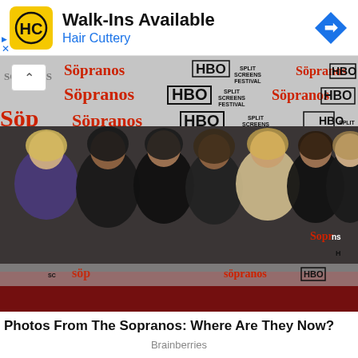[Figure (other): Hair Cuttery advertisement banner with yellow HC logo, text 'Walk-Ins Available' and 'Hair Cuttery', blue navigation icon on right, ad disclosure triangle and X on left]
[Figure (photo): Group photo of seven women standing in front of a Sopranos HBO Split Screens Festival step-and-repeat backdrop. Women are dressed in various outfits including a purple velvet blazer, black lace dress, all-black outfits, floral blouse with pink pants, and dark tops.]
Photos From The Sopranos: Where Are They Now?
Brainberries